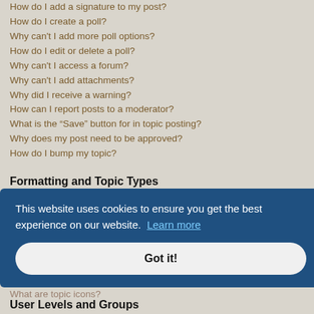How do I add a signature to my post?
How do I create a poll?
Why can't I add more poll options?
How do I edit or delete a poll?
Why can't I access a forum?
Why can't I add attachments?
Why did I receive a warning?
How can I report posts to a moderator?
What is the “Save” button for in topic posting?
Why does my post need to be approved?
How do I bump my topic?
Formatting and Topic Types
What is BBCode?
Can I use HTML?
What are Smilies?
What are global announcements?
What are sticky topics?
What are locked topics?
What are topic icons?
User Levels and Groups
This website uses cookies to ensure you get the best experience on our website. Learn more
Got it!